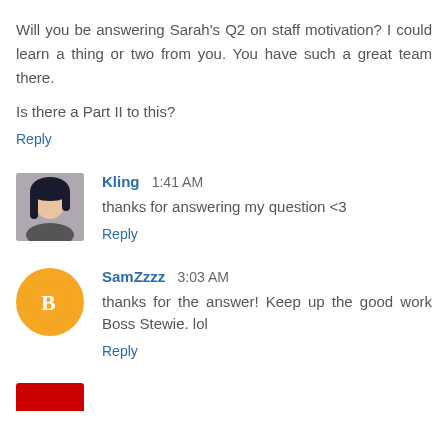Will you be answering Sarah's Q2 on staff motivation? I could learn a thing or two from you. You have such a great team there.
Is there a Part II to this?
Reply
Kling  1:41 AM
thanks for answering my question <3
Reply
SamZzzz  3:03 AM
thanks for the answer! Keep up the good work Boss Stewie. lol
Reply